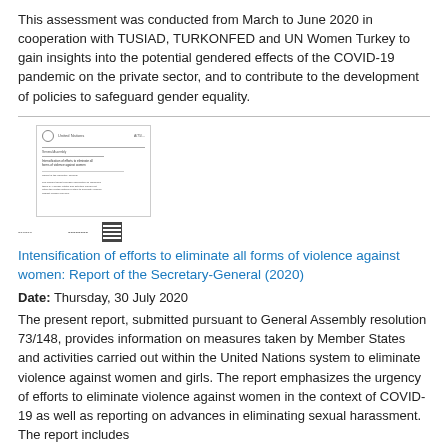This assessment was conducted from March to June 2020 in cooperation with TUSIAD, TURKONFED and UN Women Turkey to gain insights into the potential gendered effects of the COVID-19 pandemic on the private sector, and to contribute to the development of policies to safeguard gender equality.
[Figure (screenshot): Thumbnail image of a UN document page with logo, horizontal rule, title text, and body text. Below the thumbnail is a small barcode/QR code element.]
Intensification of efforts to eliminate all forms of violence against women: Report of the Secretary-General (2020)
Date: Thursday, 30 July 2020
The present report, submitted pursuant to General Assembly resolution 73/148, provides information on measures taken by Member States and activities carried out within the United Nations system to eliminate violence against women and girls. The report emphasizes the urgency of efforts to eliminate violence against women in the context of COVID-19 as well as reporting on advances in eliminating sexual harassment. The report includes